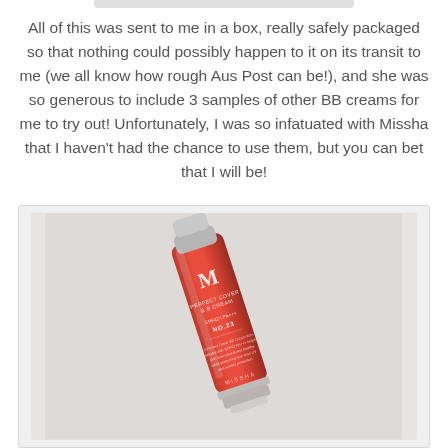All of this was sent to me in a box, really safely packaged so that nothing could possibly happen to it on its transit to me (we all know how rough Aus Post can be!), and she was so generous to include 3 samples of other BB creams for me to try out! Unfortunately, I was so infatuated with Missha that I haven't had the chance to use them, but you can bet that I will be!
[Figure (photo): A red tube of Missha M Perfect Cover BB Cream No.23 SPF42 PA+++ standing upright on a light gray background]